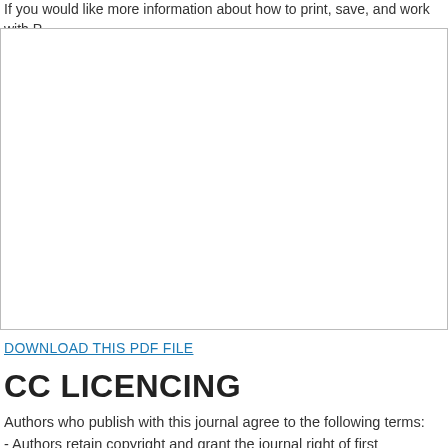If you would like more information about how to print, save, and work with PDFs, Questions about PDFs.
[Figure (other): Empty white box with border representing an embedded PDF viewer area]
DOWNLOAD THIS PDF FILE
CC LICENCING
Authors who publish with this journal agree to the following terms:
- Authors retain copyright and grant the journal right of first publication with the Attribution License that allows others to share the work with an acknowledgement journal.